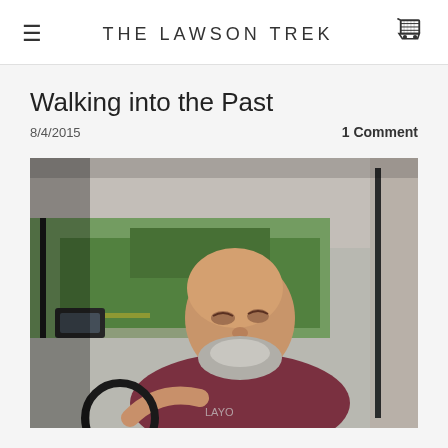THE LAWSON TREK
Walking into the Past
8/4/2015
1 Comment
[Figure (photo): A smiling middle-aged bald man with a grey beard sitting in the driver's seat of a truck, wearing a dark red/maroon t-shirt. He is looking over his shoulder at the camera with a big smile. The truck interior is visible, and through the windows green trees, a lawn, and a road can be seen in the background.]